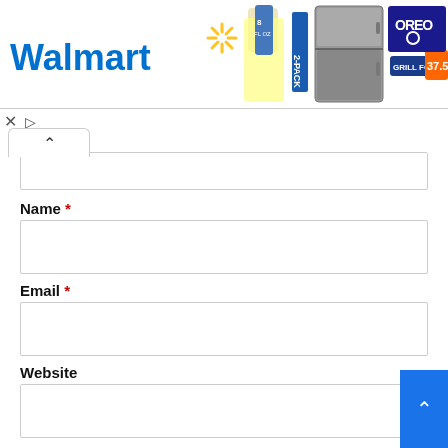[Figure (screenshot): Walmart advertisement banner showing Walmart logo, product images including 2-pack bottle, refrigerator, Grill Foil priced at 37.5, and Oreo cookies]
[Figure (other): Ad controls: close (x) and play button icons]
[Figure (other): Collapse/accordion tab with up caret arrow]
Name *
Email *
Website
Save my name, email, and website in this browser for the next time I comment.